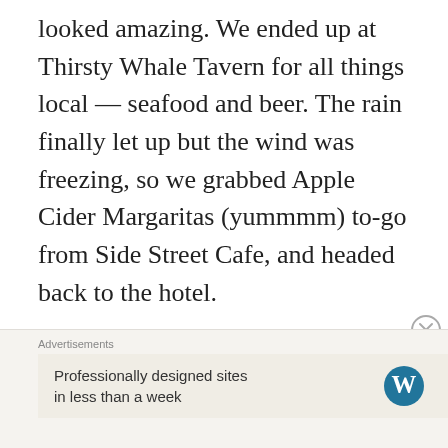looked amazing. We ended up at Thirsty Whale Tavern for all things local — seafood and beer. The rain finally let up but the wind was freezing, so we grabbed Apple Cider Margaritas (yummmm) to-go from Side Street Cafe, and headed back to the hotel.
Day 3 – Today was the best day. We woke up early to start our day of hiking in Acadia National Park, but had been instructed not to leave the island without having breakfast at Jeannie's Great Maine Breakfast. Tip: Get here EARLY. We arrived at Jeannie's around 7:30am —
Advertisements
Professionally designed sites in less than a week